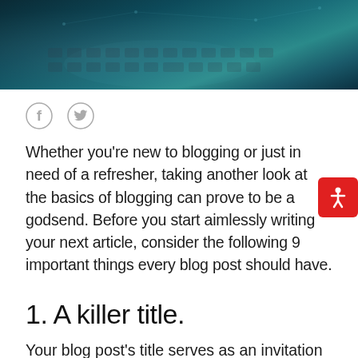[Figure (photo): Dark teal-toned photo of hands typing on a keyboard with digital network overlay]
[Figure (other): Social media share icons: Facebook and Twitter in gray]
Whether you're new to blogging or just in need of a refresher, taking another look at the basics of blogging can prove to be a godsend. Before you start aimlessly writing your next article, consider the following 9 important things every blog post should have.
1. A killer title.
Your blog post's title serves as an invitation for new